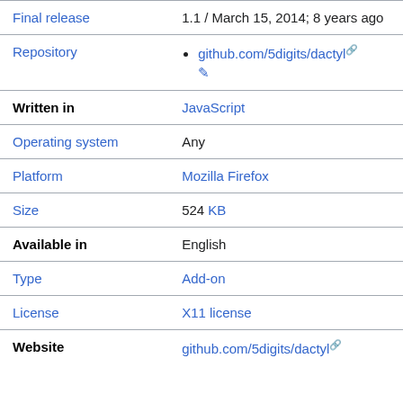| Property | Value |
| --- | --- |
| Final release | 1.1 / March 15, 2014; 8 years ago |
| Repository | github.com/5digits/dactyl |
| Written in | JavaScript |
| Operating system | Any |
| Platform | Mozilla Firefox |
| Size | 524 KB |
| Available in | English |
| Type | Add-on |
| License | X11 license |
| Website | github.com/5digits/dactyl |